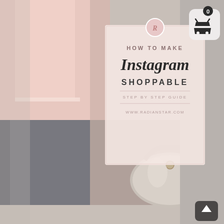[Figure (infographic): A fashion/lifestyle infographic image showing a person in pink clothing holding a silver/metallic handbag. Overlaid on the image is a semi-transparent pink/white box with text reading 'HOW TO MAKE Instagram SHOPPABLE STEP BY STEP GUIDE www.radianstar.com' with a circular R logo at the top. In the upper right corner is a shopping cart icon button (white rounded square with black basket icon and a badge showing '0' in dark circle). In the lower right corner is a scroll-to-top arrow button (dark rounded square with white up arrow).]